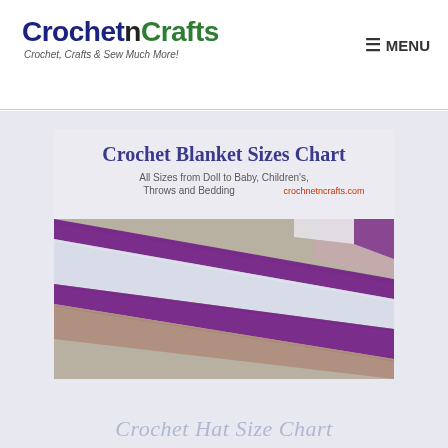CrochetnCrafts — Crochet, Crafts & Sew Much More!
[Figure (photo): Crochet Blanket Sizes Chart promotional image showing a crocheted blanket with diagonal stripes in purple, white, light blue, and tan/mauve colors. Text overlay reads: 'Crochet Blanket Sizes Chart — All Sizes from Doll to Baby, Children's, Throws and Bedding — crochnetncrafts.com']
Crochet Hat Size Chart